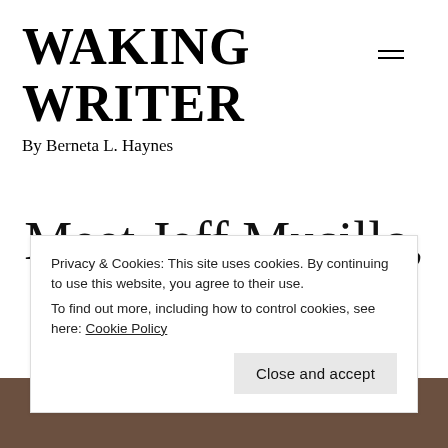WAKING WRITER
By Berneta L. Haynes
Meet Jeff Musillo, Author of The
[Figure (photo): Bottom portion of page showing a dark brownish background, bottom of article photo area]
Privacy & Cookies: This site uses cookies. By continuing to use this website, you agree to their use.
To find out more, including how to control cookies, see here: Cookie Policy
Close and accept